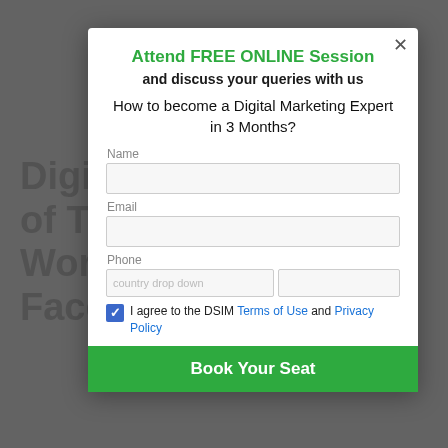Digital Marketing Tool of The Week: Workplace by Facebook
Attend FREE ONLINE Session and discuss your queries with us
How to become a Digital Marketing Expert in 3 Months?
Name
Email
Phone
I agree to the DSIM Terms of Use and Privacy Policy
Book Your Seat